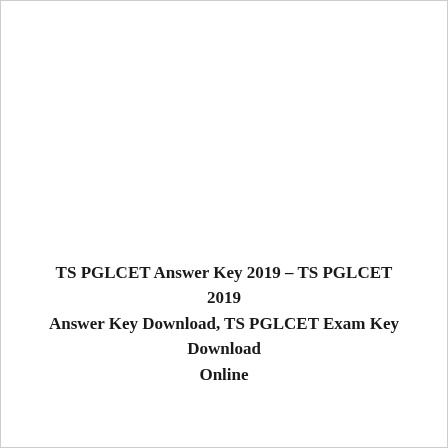TS PGLCET Answer Key 2019 – TS PGLCET 2019 Answer Key Download, TS PGLCET Exam Key Download Online